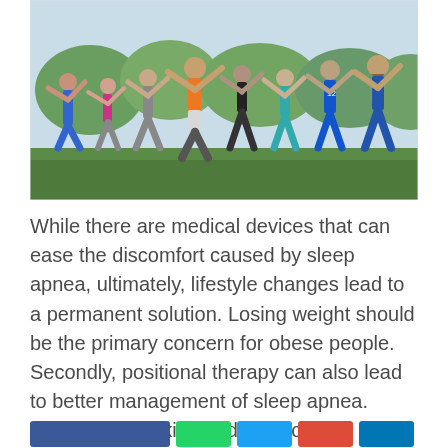[Figure (photo): Group of people outdoors doing side-stretch exercises together, wearing colorful athletic clothing, on a grassy area with trees in the background.]
While there are medical devices that can ease the discomfort caused by sleep apnea, ultimately, lifestyle changes lead to a permanent solution. Losing weight should be the primary concern for obese people. Secondly, positional therapy can also lead to better management of sleep apnea. Moreover, smoking and alcohol consumption should be restricted.